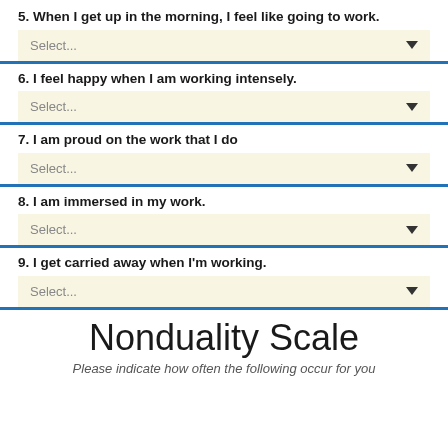5. When I get up in the morning, I feel like going to work.
6. I feel happy when I am working intensely.
7. I am proud on the work that I do
8. I am immersed in my work.
9. I get carried away when I'm working.
Nonduality Scale
Please indicate how often the following occur for you